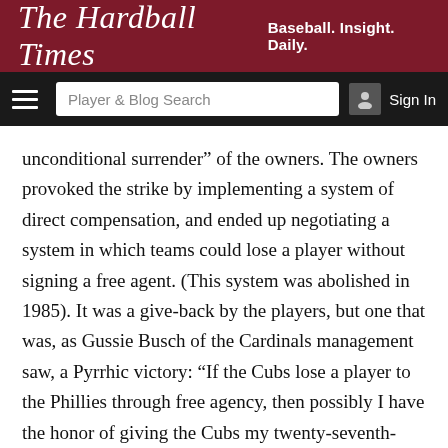The Hardball Times — Baseball. Insight. Daily.
unconditional surrender” of the owners. The owners provoked the strike by implementing a system of direct compensation, and ended up negotiating a system in which teams could lose a player without signing a free agent. (This system was abolished in 1985). It was a give-back by the players, but one that was, as Gussie Busch of the Cardinals management saw, a Pyrrhic victory: “If the Cubs lose a player to the Phillies through free agency, then possibly I have the honor of giving the Cubs my twenty-seventh-best player—marvelous compensation.”
On the cover of its May 30, 1981 issue, The Sporting News